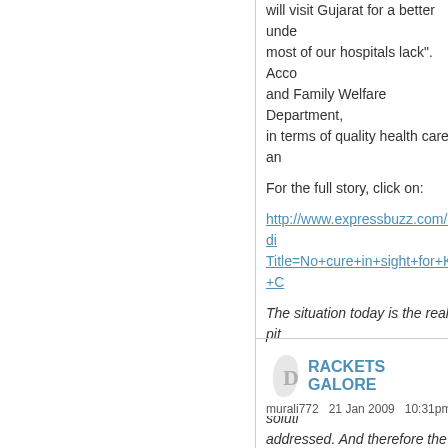will visit Gujarat for a better unde... most of our hospitals lack". Acco... and Family Welfare Department, in terms of quality health care an...
For the full story, click on:
http://www.expressbuzz.com/edi... Title=No+cure+in+sight+for+K+C...
The situation today is the real pit... can only improve matters. As suc... think these are permanent soluti... addressed. And therefore the im... lived.
The ultimate remedy lies in the g... provider to a facilitator and regul...
Muralidhar Rao
Muralidhar Rao
Login or register to post comm...
RACKETS GALORE
murali772   21 Jan 2009   10:31pm